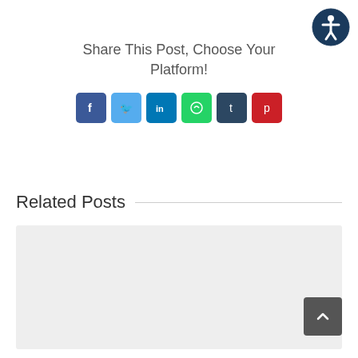[Figure (logo): Accessibility icon: dark blue circle with white human figure (wheelchair accessibility symbol)]
Share This Post, Choose Your Platform!
[Figure (infographic): Social media sharing buttons: Facebook (dark blue), Twitter (light blue), LinkedIn (blue), WhatsApp (green), Tumblr (dark navy), Pinterest (red)]
Related Posts
[Figure (photo): Gray placeholder image for a related post thumbnail]